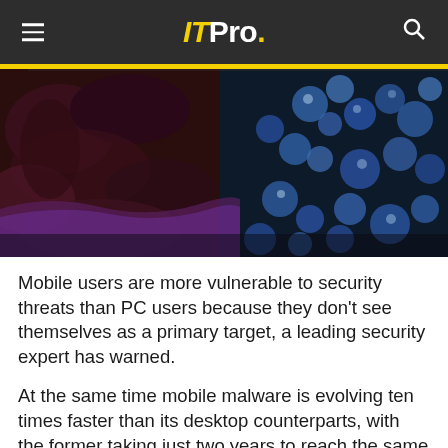ITPro.
[Figure (photo): Abstract dark macro photograph with purple and blue floral or organic textures, split-toned with dark reds and blues]
Mobile users are more vulnerable to security threats than PC users because they don't see themselves as a primary target, a leading security expert has warned.
At the same time mobile malware is evolving ten times faster than its desktop counterparts, with the former taking just two years to reach the same level of maturity, according to the Mobile Virology reported published by Kaspersky Labs.